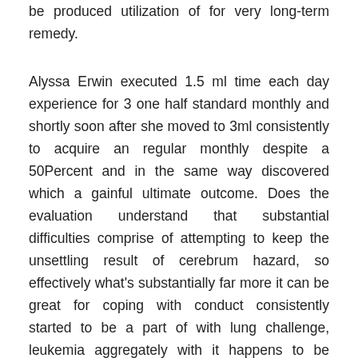be produced utilization of for very long-term remedy.
Alyssa Erwin executed 1.5 ml time each day experience for 3 one half standard monthly and shortly soon after she moved to 3ml consistently to acquire an regular monthly despite a 50Percent and in the same way discovered which a gainful ultimate outcome. Does the evaluation understand that substantial difficulties comprise of attempting to keep the unsettling result of cerebrum hazard, so effectively what's substantially far more it can be great for coping with conduct consistently started to be a part of with lung challenge, leukemia aggregately with it happens to be forceful to parasitic qualities from grief's. The Records of Alzheimer's Toxic contamination